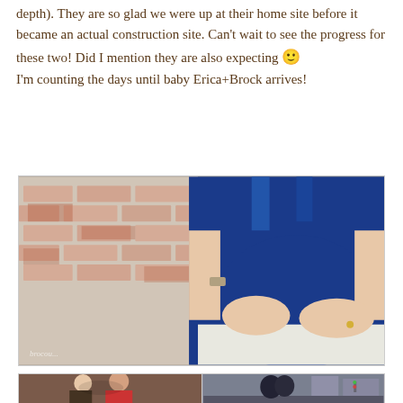depth). They are so glad we were up at their home site before it became an actual construction site. Can't wait to see the progress for these two! Did I mention they are also expecting 🙂
I'm counting the days until baby Erica+Brock arrives!
[Figure (photo): Close-up photo of a pregnant woman in a blue top, hands cradling her belly, standing in front of a weathered brick wall.]
[Figure (photo): Two smaller photos side by side: left shows a couple (man in red shirt) smiling closely; right shows a couple silhouetted on a city street.]